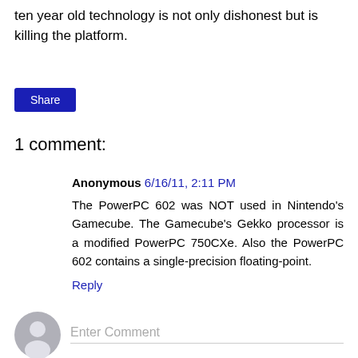ten year old technology is not only dishonest but is killing the platform.
Share
1 comment:
Anonymous 6/16/11, 2:11 PM
The PowerPC 602 was NOT used in Nintendo's Gamecube. The Gamecube's Gekko processor is a modified PowerPC 750CXe. Also the PowerPC 602 contains a single-precision floating-point.
Reply
Enter Comment